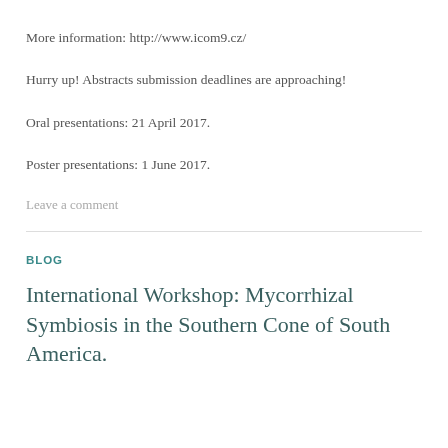More information: http://www.icom9.cz/
Hurry up! Abstracts submission deadlines are approaching!
Oral presentations: 21 April 2017.
Poster presentations: 1 June 2017.
Leave a comment
BLOG
International Workshop: Mycorrhizal Symbiosis in the Southern Cone of South America.